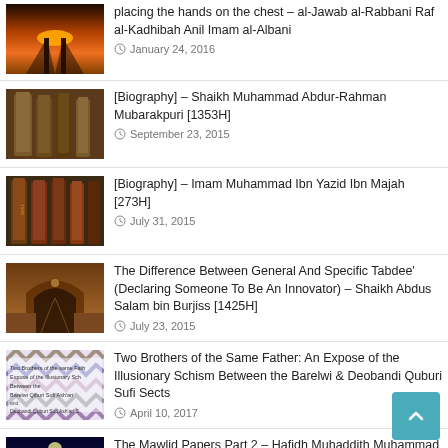placing the hands on the chest – al-Jawab al-Rabbani Raf al-Kadhibah Anil Imam al-Albani
January 24, 2016
[Biography] – Shaikh Muhammad Abdur-Rahman Mubarakpuri [1353H]
September 23, 2015
[Biography] – Imam Muhammad Ibn Yazid Ibn Majah [273H]
July 31, 2015
The Difference Between General And Specific Tabdee' (Declaring Someone To Be An Innovator) – Shaikh Abdus Salam bin Burjiss [1425H]
July 23, 2015
Two Brothers of the Same Father: An Expose of the Illusionary Schism Between the Barelwi & Deobandi Quburi Sufi Sects
April 10, 2017
The Mawlid Papers Part 2 – Hafidh Muhaddith Muhammad Ghondalwi [1405H] Refuting Shaikh Suyuti's Book on Mawlid